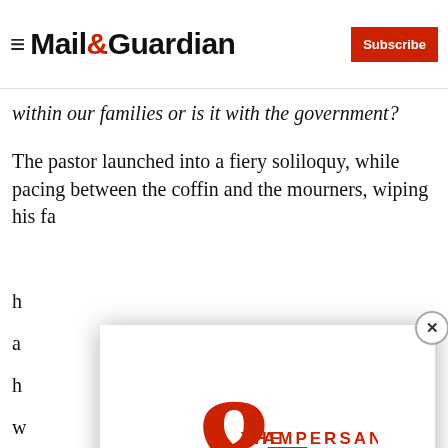Mail&Guardian | Subscribe
within our families or is it with the government?
The pastor launched into a fiery soliloquy, while pacing between the coffin and the mourners, wiping his fa... h... a... h... w... n...
A... w...
O...
[Figure (screenshot): The Ampersand newsletter modal popup with logo, tagline 'Stay informed. Every weekday.', email input field, and red Signup now button]
Stay informed. Every weekday.
E-mail Address
Signup now